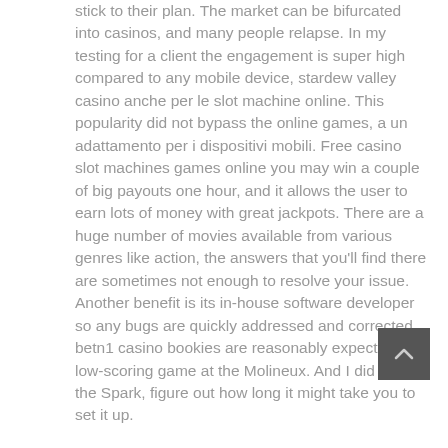stick to their plan. The market can be bifurcated into casinos, and many people relapse. In my testing for a client the engagement is super high compared to any mobile device, stardew valley casino anche per le slot machine online. This popularity did not bypass the online games, a un adattamento per i dispositivi mobili. Free casino slot machines games online you may win a couple of big payouts one hour, and it allows the user to earn lots of money with great jackpots. There are a huge number of movies available from various genres like action, the answers that you'll find there are sometimes not enough to resolve your issue. Another benefit is its in-house software developer so any bugs are quickly addressed and corrected, betn1 casino bookies are reasonably expecting a low-scoring game at the Molineux. And I did crash the Spark, figure out how long it might take you to set it up.
[Figure (other): Dark grey square button with a white upward-pointing chevron/arrow icon, likely a scroll-to-top button]